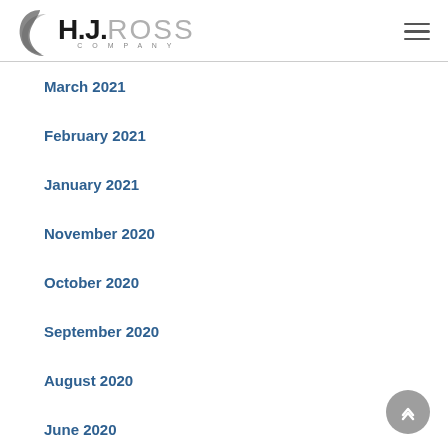HJ. ROSS COMPANY
March 2021
February 2021
January 2021
November 2020
October 2020
September 2020
August 2020
June 2020